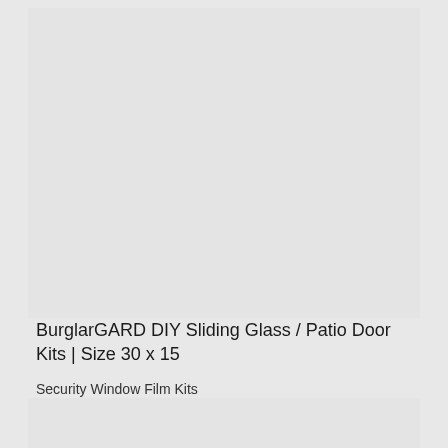[Figure (photo): Product image area — large grey rectangle placeholder for BurglarGARD DIY Sliding Glass / Patio Door Kit product photo]
BurglarGARD DIY Sliding Glass / Patio Door Kits | Size 30 x 15
Security Window Film Kits
$399.99  $299.00 Sale